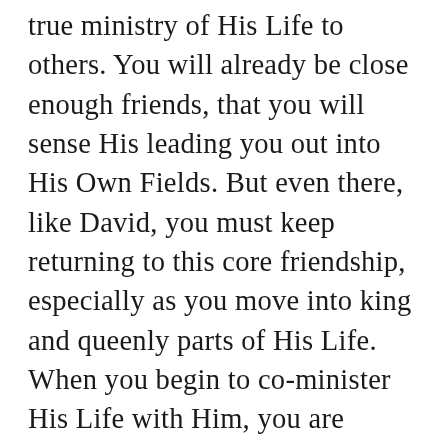true ministry of His Life to others. You will already be close enough friends, that you will sense His leading you out into His Own Fields. But even there, like David, you must keep returning to this core friendship, especially as you move into king and queenly parts of His Life. When you begin to co-minister His Life with Him, you are getting to know Him as Ruler, King, Pastor, Shepherd, Teacher...He guides you into ever deeper parts of who He is over time. Be led by Him alone, and not your own spiritual talents or gifts, and He may plant them one day in soil which lasts forever! Be led by Him, not other's needs.